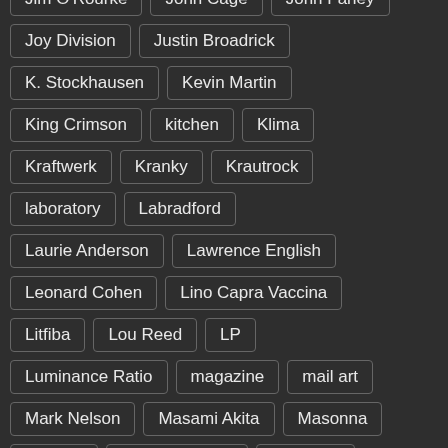Jim O'Rourke
John Cage
John Fahey
Joy Division
Justin Broadrick
K. Stockhausen
Kevin Martin
King Crimson
kitchen
Klima
Kraftwerk
Kranky
Krautrock
laboratory
Labradford
Laurie Anderson
Lawrence English
Leonard Cohen
Lino Capra Vaccina
Litfiba
Lou Reed
LP
Luminance Ratio
magazine
mail art
Mark Nelson
Masami Akita
Masonna
Melvins
Meredith Monk
Merzbow